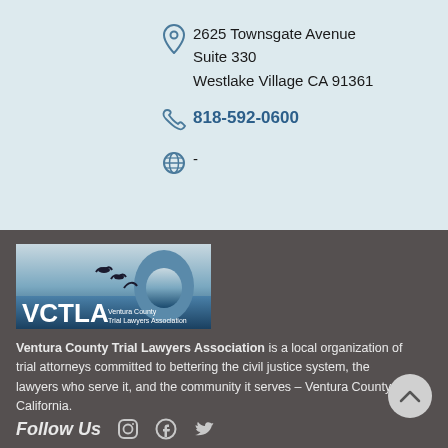2625 Townsgate Avenue
Suite 330
Westlake Village CA 91361
818-592-0600
-
[Figure (logo): VCTLA - Ventura County Trial Lawyers Association logo with birds flying over coastal rock arch]
Ventura County Trial Lawyers Association is a local organization of trial attorneys committed to bettering the civil justice system, the lawyers who serve it, and the community it serves – Ventura County, California.
Follow Us